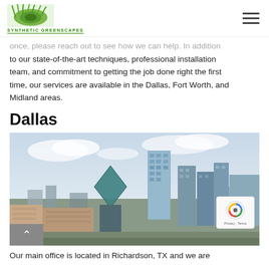SYNTHETIC GREENSCAPES
once, please reach out to see how we can help. In addition to our state-of-the-art techniques, professional installation team, and commitment to getting the job done right the first time, our services are available in the Dallas, Fort Worth, and Midland areas.
Dallas
[Figure (photo): Aerial photograph of the Dallas, Texas skyline showing downtown skyscrapers including the distinctive Reunion Tower and high-rise office buildings under a partly cloudy sky.]
Our main office is located in Richardson, TX and we are